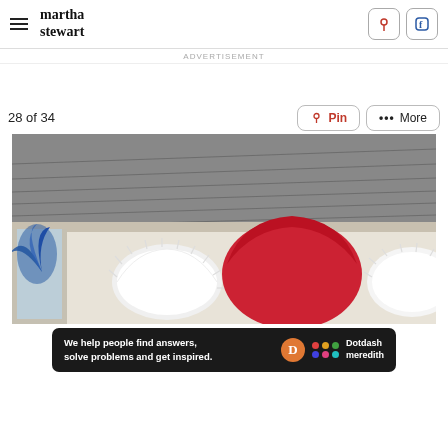martha stewart
ADVERTISEMENT
28 of 34
[Figure (photo): Close-up of a house roofline decorated with red, white, and blue patriotic paper fan decorations hanging from the eave against a light blue sky background.]
We help people find answers, solve problems and get inspired. Dotdash meredith